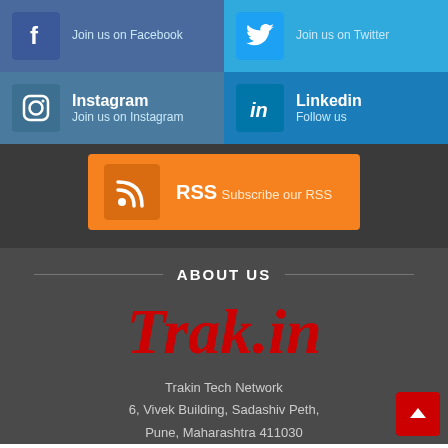[Figure (infographic): Social media buttons grid: Facebook (Join us on Facebook), Twitter (Join us on Twitter), Instagram (Join us on Instagram), LinkedIn (Follow us), RSS (Subscribe our RSS)]
ABOUT US
Trak.in
Trakin Tech Network
6, Vivek Building, Sadashiv Peth,
Pune, Maharashtra 411030